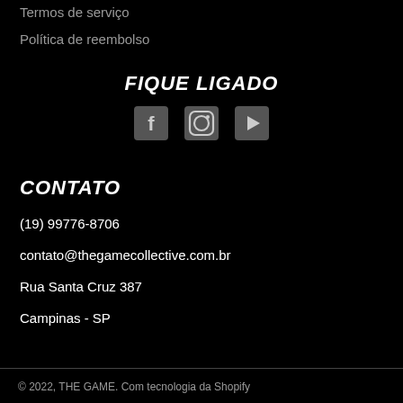Termos de serviço
Política de reembolso
FIQUE LIGADO
[Figure (illustration): Social media icons: Facebook, Instagram, YouTube]
CONTATO
(19) 99776-8706
contato@thegamecollective.com.br
Rua Santa Cruz 387
Campinas - SP
© 2022, THE GAME. Com tecnologia da Shopify